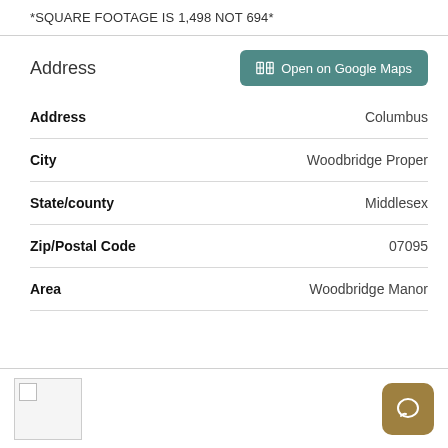*SQUARE FOOTAGE IS 1,498 NOT 694*
Address
| Field | Value |
| --- | --- |
| Address | Columbus |
| City | Woodbridge Proper |
| State/county | Middlesex |
| Zip/Postal Code | 07095 |
| Area | Woodbridge Manor |